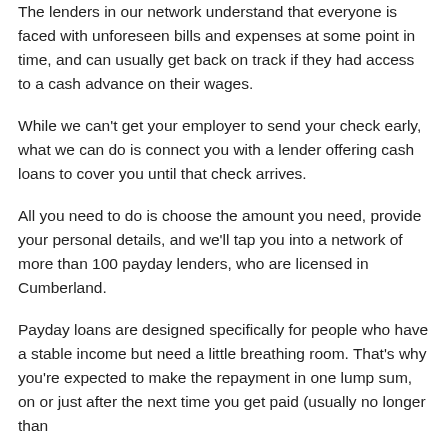The lenders in our network understand that everyone is faced with unforeseen bills and expenses at some point in time, and can usually get back on track if they had access to a cash advance on their wages.
While we can't get your employer to send your check early, what we can do is connect you with a lender offering cash loans to cover you until that check arrives.
All you need to do is choose the amount you need, provide your personal details, and we'll tap you into a network of more than 100 payday lenders, who are licensed in Cumberland.
Payday loans are designed specifically for people who have a stable income but need a little breathing room. That's why you're expected to make the repayment in one lump sum, on or just after the next time you get paid (usually no longer than